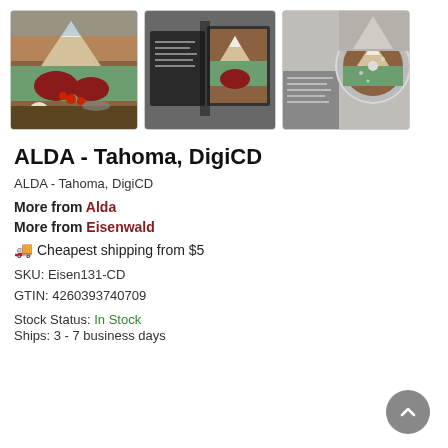[Figure (photo): Three product images of ALDA Tahoma DigiCD: album artwork showing nature scene with skulls, open digipak booklet, and disc/back cover.]
ALDA - Tahoma, DigiCD
ALDA - Tahoma, DigiCD
More from Alda
More from Eisenwald
🚚 Cheapest shipping from $5
SKU: Eisen131-CD
GTIN: 4260393740709
Stock Status: In Stock
Ships: 3 - 7 business days